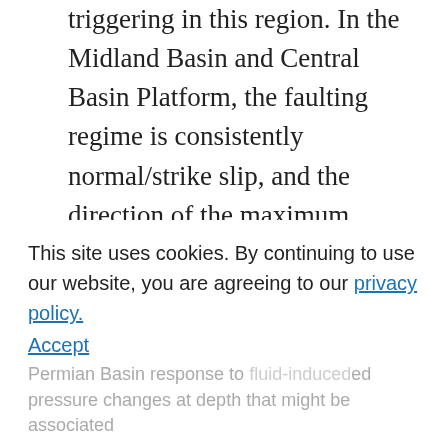triggering in this region. In the Midland Basin and Central Basin Platform, the faulting regime is consistently normal/strike slip, and the direction of the maximum horizontal compressive stress (S_Hmax) is approximately east–west, although modest rotations of the S_Hmax direction are seen in some areas. Within the Delaware Basin, however, a large-magnitude clockwise rotation (~150°) of S_Hmax occurs progressively from being nearly north–south in the north to east-southeast–west-northwest in the south, including the western Val Verde Basin. A normal faulting stress field is observed throughout the Delaware Basin. We use these stress data to estimate
This site uses cookies. By continuing to use our website, you are agreeing to our privacy policy. Accept